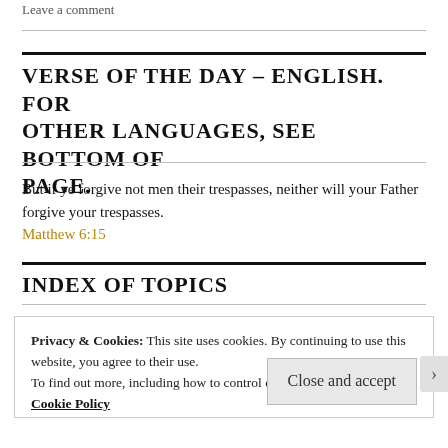Leave a comment
VERSE OF THE DAY – ENGLISH. FOR OTHER LANGUAGES, SEE BOTTOM OF PAGE.
But if ye forgive not men their trespasses, neither will your Father forgive your trespasses.
Matthew 6:15
INDEX OF TOPICS
Privacy & Cookies: This site uses cookies. By continuing to use this website, you agree to their use.
To find out more, including how to control cookies, see here: Our Cookie Policy